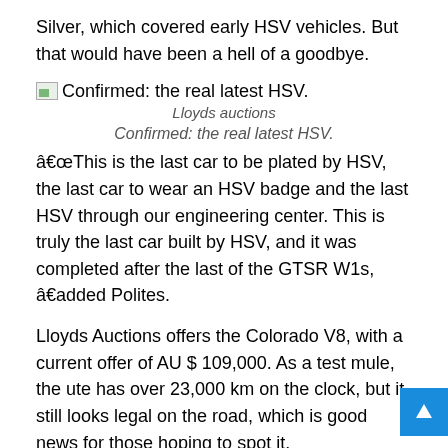Silver, which covered early HSV vehicles. But that would have been a hell of a goodbye.
[Figure (photo): Broken/placeholder image icon followed by caption text: Confirmed: the real latest HSV.]
Lloyds auctions
Confirmed: the real latest HSV.
“This is the last car to be plated by HSV, the last car to wear an HSV badge and the last HSV through our engineering center. This is truly the last car built by HSV, and it was completed after the last of the GTSR W1s, ”added Polites.
Lloyds Auctions offers the Colorado V8, with a current offer of AU $ 109,000. As a test mule, the ute has over 23,000 km on the clock, but it still looks legal on the road, which is good news for those hoping to spot it.
He reports that the engine has custom driveshafts, four-inch headers and exhaust, along with a new airbox, fuel system, and retuned ECU. The build plate under the hood has been engraved with “The Real Last HSV”.